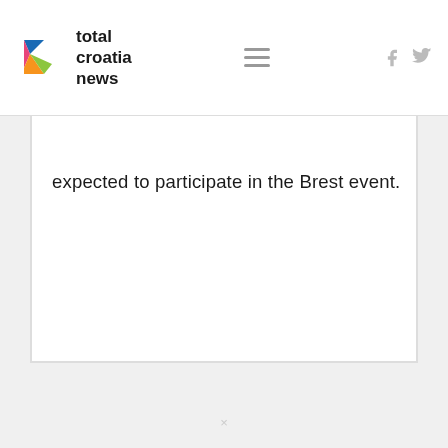total croatia news
expected to participate in the Brest event.